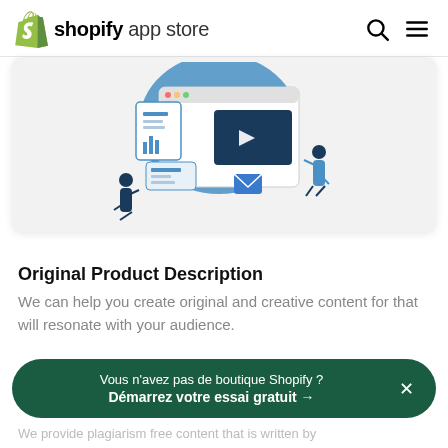shopify app store
[Figure (illustration): Blue and white illustration showing digital content creation: two people working with large UI screens, browser windows, a video player, charts, and document icons. Technology/e-commerce theme.]
Original Product Description
We can help you create original and creative content for that will resonate with your audience.
Vous n'avez pas de boutique Shopify ? Démarrez votre essai gratuit →
We provide plagiarism free content that is written by